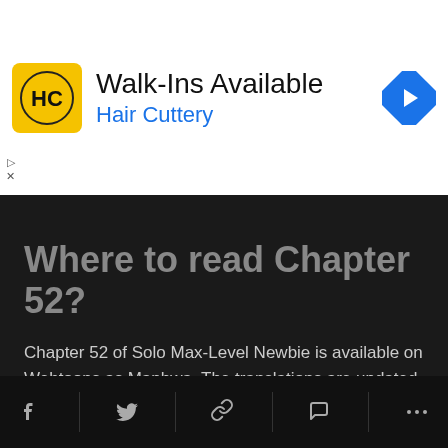[Figure (screenshot): Hair Cuttery advertisement banner with logo, text 'Walk-Ins Available' and 'Hair Cuttery', and a blue diamond direction icon]
Where to read Chapter 52?
Chapter 52 of Solo Max-Level Newbie is available on Webtoons as Manhwa. The translations are updated as soon as a new chapter comes out. Webtoons are also home to many other manhwas, and they are the best source to support your favorite manhwas as well.
Manhwabookshelf
Naver Webtoon